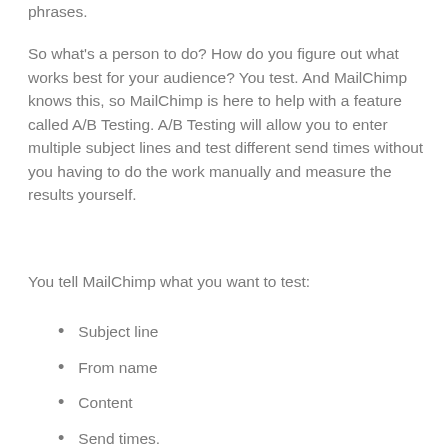phrases.
So what's a person to do? How do you figure out what works best for your audience? You test. And MailChimp knows this, so MailChimp is here to help with a feature called A/B Testing. A/B Testing will allow you to enter multiple subject lines and test different send times without you having to do the work manually and measure the results yourself.
You tell MailChimp what you want to test:
Subject line
From name
Content
Send times.